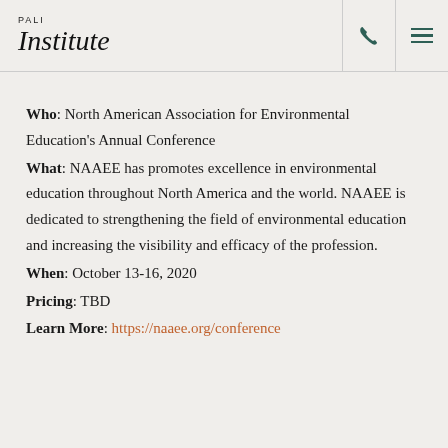PALI Institute
Who: North American Association for Environmental Education's Annual Conference
What: NAAEE has promotes excellence in environmental education throughout North America and the world. NAAEE is dedicated to strengthening the field of environmental education and increasing the visibility and efficacy of the profession.
When: October 13-16, 2020
Pricing: TBD
Learn More: https://naaee.org/conference